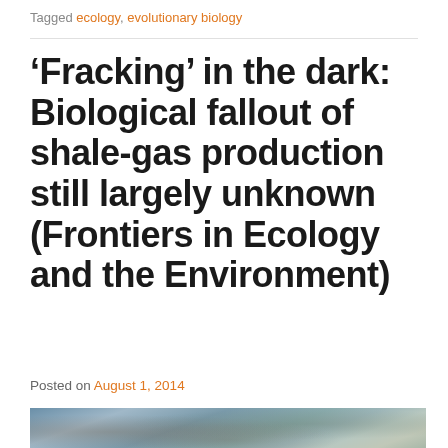Tagged ecology, evolutionary biology
'Fracking' in the dark: Biological fallout of shale-gas production still largely unknown (Frontiers in Ecology and the Environment)
Posted on August 1, 2014
[Figure (photo): Aerial photograph of a shale-gas drilling site in an arid landscape, showing roads, well pads, and surrounding terrain.]